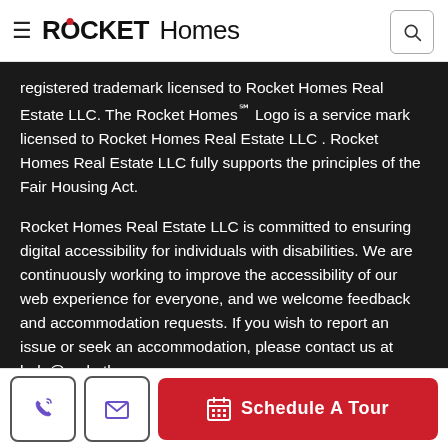ROCKET Homes
registered trademark licensed to Rocket Homes Real Estate LLC. The Rocket Homes℠ Logo is a service mark licensed to Rocket Homes Real Estate LLC . Rocket Homes Real Estate LLC fully supports the principles of the Fair Housing Act.
Rocket Homes Real Estate LLC is committed to ensuring digital accessibility for individuals with disabilities. We are continuously working to improve the accessibility of our web experience for everyone, and we welcome feedback and accommodation requests. If you wish to report an issue or seek an accommodation, please contact us at help@rockethomes.com.
New York: Standardized Operating Procedure for Purchasers of
Schedule A Tour